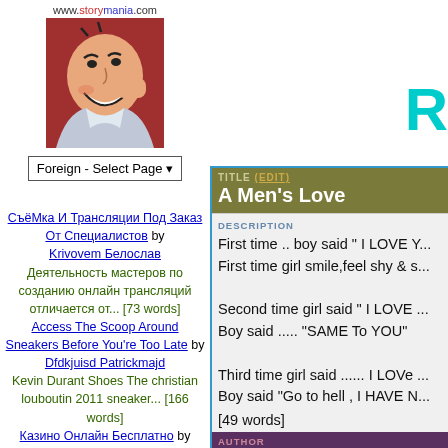[Figure (logo): Storymania.com logo with stylized cartoon man smiling, red/brown background. URL shown above: www.storymania.com]
Foreign - Select Page ▼
СъёМка И Трансляции Под Заказ От Специалистов by Krivovem Белослав Деятельность мастеров по созданию онлайн трансляций отличается от... [73 words]
Access The Scoop Around Sneakers Before You're Too Late by Dfdkjuisd Patrickmajd Kevin Durant Shoes The christian louboutin 2011 sneaker... [166 words]
Казино Онлайн Бесплатно by Prestonneit Prestonneitdk казино онлайн бесплатно http://centrcasino.com - http://centrcasino.com/Pict/43.gif [387 words]
TITLE (EDIT) A Men's Love
DESCRIPTION First time .. boy said " I LOVE Y... First time girl smile,feel shy & s... Second time girl said " I LOVE ... Boy said ..... "SAME To YOU" Third time girl said ...... I LOVe ... Boy said "Go to hell , I HAVE N... [49 words]
AUTHOR Sadaf Shahab
ABOUT THE AUTHOR Tum nahee to hum sahee